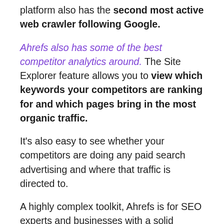platform also has the second most active web crawler following Google.
Ahrefs also has some of the best competitor analytics around. The Site Explorer feature allows you to view which keywords your competitors are ranking for and which pages bring in the most organic traffic.
It's also easy to see whether your competitors are doing any paid search advertising and where that traffic is directed to.
A highly complex toolkit, Ahrefs is for SEO experts and businesses with a solid grounding in SEO who are looking to push their site in search results and...